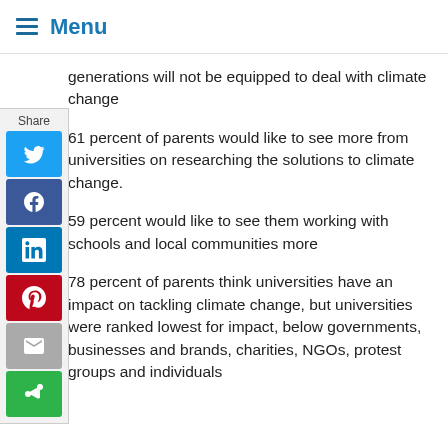Menu
generations will not be equipped to deal with climate change
61 percent of parents would like to see more from universities on researching the solutions to climate change.
59 percent would like to see them working with schools and local communities more
78 percent of parents think universities have an impact on tackling climate change, but universities were ranked lowest for impact, below governments, businesses and brands, charities, NGOs, protest groups and individuals